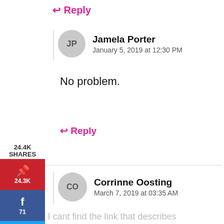↩ Reply
JP
Jamela Porter
January 5, 2019 at 12:30 PM
24.4K SHARES
No problem.
↩ Reply
[Figure (infographic): Social sharing sidebar with Pinterest (24.3K), Facebook (71), and Twitter buttons]
CO
Corrinne Oosting
March 7, 2019 at 03:35 AM
I cant find the link that describes